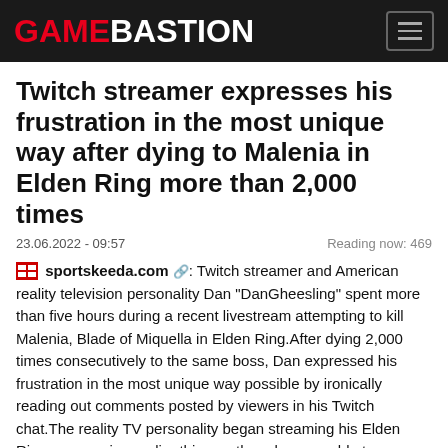GAMEBASTION
Twitch streamer expresses his frustration in the most unique way after dying to Malenia in Elden Ring more than 2,000 times
23.06.2022 - 09:57    Reading now: 469
sportskeeda.com: Twitch streamer and American reality television personality Dan "DanGheesling" spent more than five hours during a recent livestream attempting to kill Malenia, Blade of Miquella in Elden Ring.After dying 2,000 times consecutively to the same boss, Dan expressed his frustration in the most unique way possible by ironically reading out comments posted by viewers in his Twitch chat.The reality TV personality began streaming his Elden Ring progression earlier this month and was unable to progress after encountering Malenia during a recent livestream.
Malenia is considered to be the hardest boss in the latest From Software title and Dan expressed his frustration in the